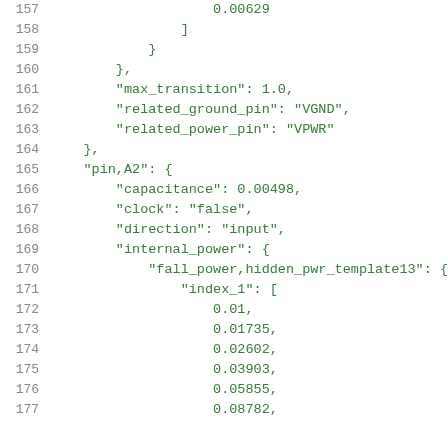Code listing lines 157-177: JSON/Liberty file format showing pin definitions including capacitance, clock, direction, internal_power, fall_power template index values.